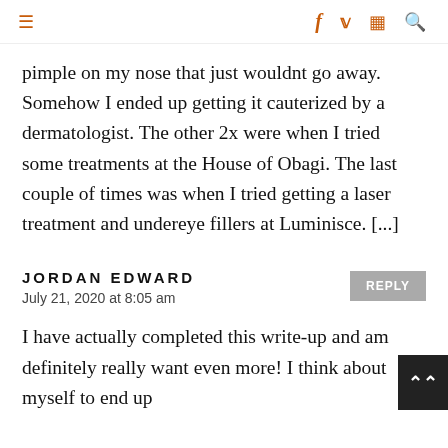≡  f  𝓽  ⊡  🔍
pimple on my nose that just wouldnt go away. Somehow I ended up getting it cauterized by a dermatologist. The other 2x were when I tried some treatments at the House of Obagi. The last couple of times was when I tried getting a laser treatment and undereye fillers at Luminisce. [...]
JORDAN EDWARD
July 21, 2020 at 8:05 am
I have actually completed this write-up and am definitely really want even more! I think about myself to end up